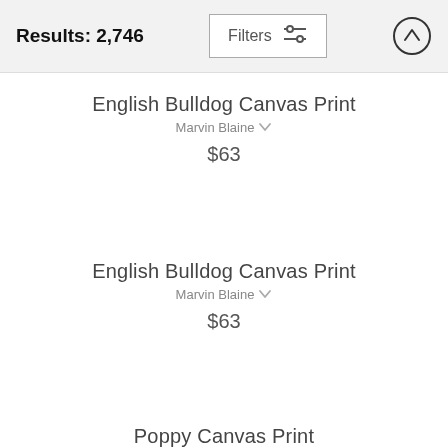Results: 2,746
English Bulldog Canvas Print
Marvin Blaine
$63
English Bulldog Canvas Print
Marvin Blaine
$63
Poppy Canvas Print
Joni Beinborn
$84